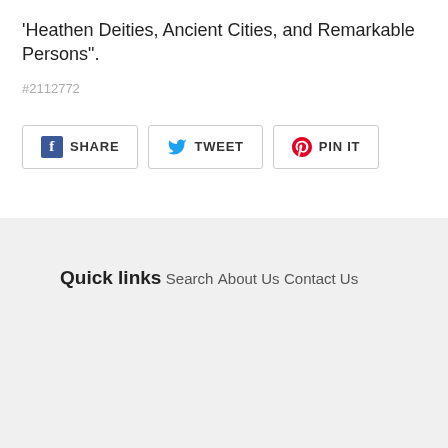'Heathen Deities, Ancient Cities, and Remarkable Persons".
#2112772
[Figure (other): Social sharing buttons: SHARE (Facebook), TWEET (Twitter), PIN IT (Pinterest)]
Quick links
Search
About Us
Contact Us